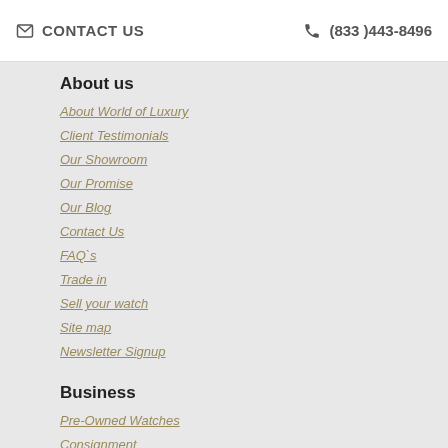CONTACT US  (833)443-8496
About us
About World of Luxury
Client Testimonials
Our Showroom
Our Promise
Our Blog
Contact Us
FAQ`s
Trade in
Sell your watch
Site map
Newsletter Signup
Business
Pre-Owned Watches
Consignment
Watch Sourcing
Watch Terminology
Caring for your Watch
Schedule Appointment